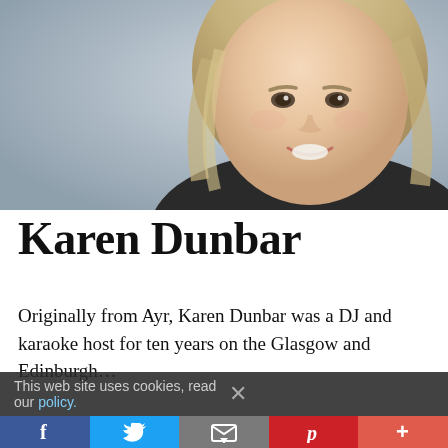[Figure (photo): Headshot of Karen Dunbar, a woman with blonde hair and a smile, against a gray background]
Karen Dunbar
Originally from Ayr, Karen Dunbar was a DJ and karaoke host for ten years on the Glasgow and Edinburgh…
This web site uses cookies, read our policy.
Facebook | Twitter | Email | Pinterest | More